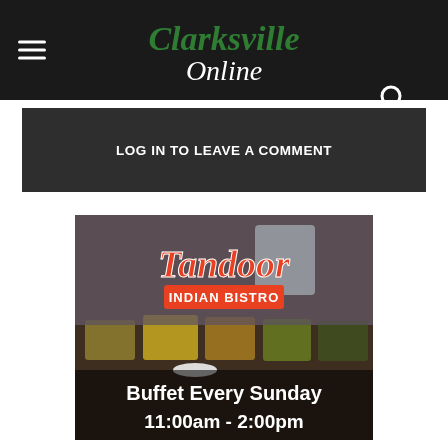Clarksville Online
LOG IN TO LEAVE A COMMENT
[Figure (photo): Tandoor Indian Bistro advertisement showing a buffet spread with text: Buffet Every Sunday 11:00am - 2:00pm]